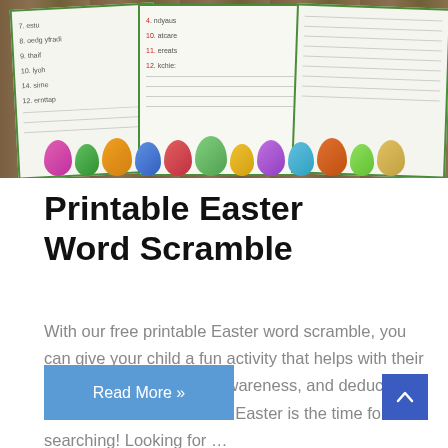[Figure (photo): Photo of a printable Easter word scramble worksheet on a wooden table, surrounded by colorful Easter eggs]
Printable Easter Word Scramble
With our free printable Easter word scramble, you can give your child a fun activity that helps with their reading, writing, spatial awareness, and deductive skills. It's also a lot of fun! Easter is the time for searching! Looking for …
Read More »